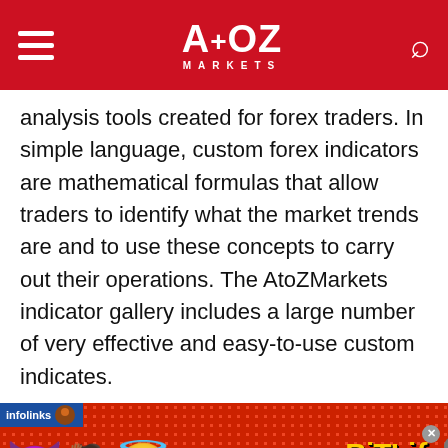A+OZ MARKETS
analysis tools created for forex traders. In simple language, custom forex indicators are mathematical formulas that allow traders to identify what the market trends are and to use these concepts to carry out their operations. The AtoZMarkets indicator gallery includes a large number of very effective and easy-to-use custom indicates.
[Figure (screenshot): Advertisement banner from BitLife game featuring emojis (devil, person with raised hands, angel) and the text 'BitLife REAL CHOICES' on a red dotted background with infolinks label]